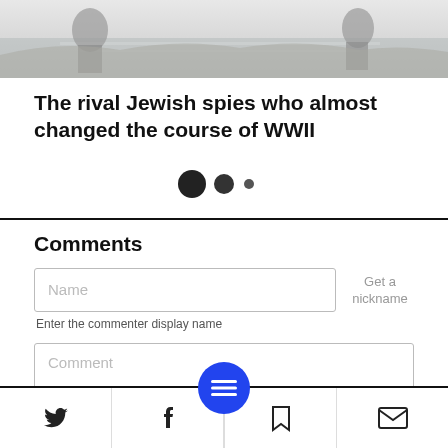[Figure (photo): Grayscale hero image at top of article, appears to show a historical/wartime scene with figures]
The rival Jewish spies who almost changed the course of WWII
[Figure (infographic): Three dots (pagination/progress indicators): one large filled black circle, one medium filled black circle, one small filled black dot]
Comments
Name
Get a nickname
Enter the commenter display name
Comment
[Figure (infographic): Bottom navigation bar with Twitter bird icon, Facebook f icon, blue circular menu button with three horizontal lines, bookmark icon, and envelope/mail icon]